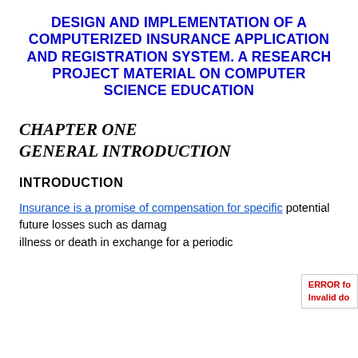DESIGN AND IMPLEMENTATION OF A COMPUTERIZED INSURANCE APPLICATION AND REGISTRATION SYSTEM. A RESEARCH PROJECT MATERIAL ON COMPUTER SCIENCE EDUCATION
CHAPTER ONE
GENERAL INTRODUCTION
INTRODUCTION
Insurance is a promise of compensation for specific potential future losses such as dama… illness or death in exchange for a periodic …